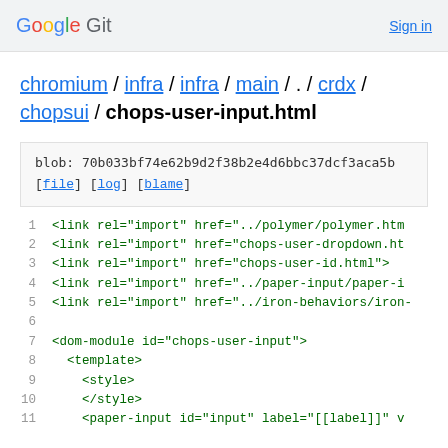Google Git  Sign in
chromium / infra / infra / main / . / crdx / chopsui / chops-user-input.html
blob: 70b033bf74e62b9d2f38b2e4d6bbc37dcf3aca5b
[file] [log] [blame]
1  <link rel="import" href="../polymer/polymer.htm
2  <link rel="import" href="chops-user-dropdown.ht
3  <link rel="import" href="chops-user-id.html">
4  <link rel="import" href="../paper-input/paper-i
5  <link rel="import" href="../iron-behaviors/iron-
6  
7  <dom-module id="chops-user-input">
8    <template>
9      <style>
10     </style>
11     <paper-input id="input" label="[[label]]" v